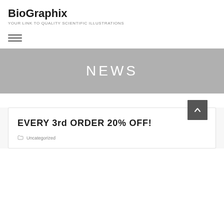BioGraphix
YOUR LINK TO QUALITY SCIENTIFIC ILLUSTRATIONS
[Figure (other): Hamburger menu icon (three horizontal lines)]
NEWS
EVERY 3rd ORDER 20% OFF!
Uncategorized